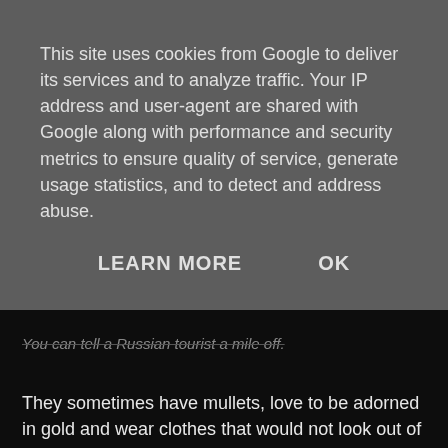This site uses cookies from Google to deliver its services and to analyze traffic. Your IP address and user-agent are shared with Google along with performance and security metrics to ensure quality of service, generate usage statistics, and to detect and address abuse.
LEARN MORE    OK
You can tell a Russian tourist a mile off.
They sometimes have mullets, love to be adorned in gold and wear clothes that would not look out of place in a jumble sale.
[Figure (photo): Photo of people on a tall ship deck with rigging, nets, and masts visible. A person in a red tank top and white cap stands in the foreground.]